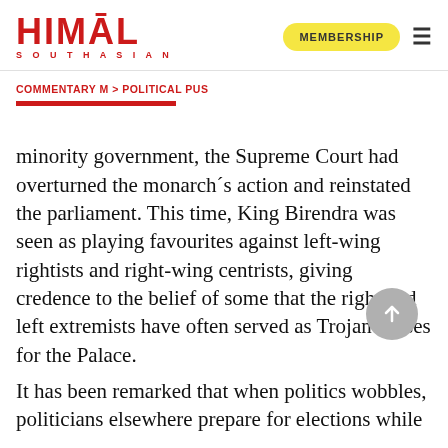HIMAL SOUTHASIAN | MEMBERSHIP
COMMENTARY M > POLITICAL PUS
minority government, the Supreme Court had overturned the monarch´s action and reinstated the parliament. This time, King Birendra was seen as playing favourites against left-wing rightists and right-wing centrists, giving credence to the belief of some that the right and left extremists have often served as Trojan horses for the Palace.
It has been remarked that when politics wobbles, politicians elsewhere prepare for elections while